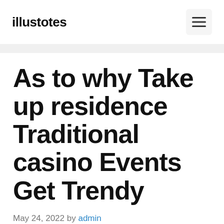illustotes
As to why Take up residence Traditional casino Events Get Trendy
May 24, 2022 by admin
Take up residence Automotive dealer Casinos